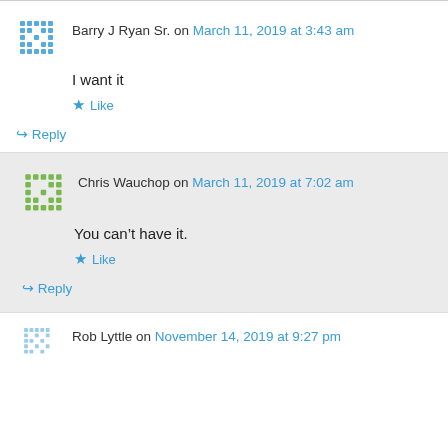Barry J Ryan Sr. on March 11, 2019 at 3:43 am
I want it
Like
Reply
Chris Wauchop on March 11, 2019 at 7:02 am
You can’t have it.
Like
Reply
Rob Lyttle on November 14, 2019 at 9:27 pm